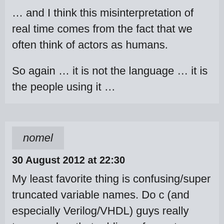… and I think this misinterpretation of real time comes from the fact that we often think of actors as humans.

So again … it is not the language … it is the people using it …
nomel
30 August 2012 at 22:30
My least favorite thing is confusing/super truncated variable names. Do c (and especially Verilog/VHDL) guys really type so slow that adding a few extra characters to some variable that's used tens of times